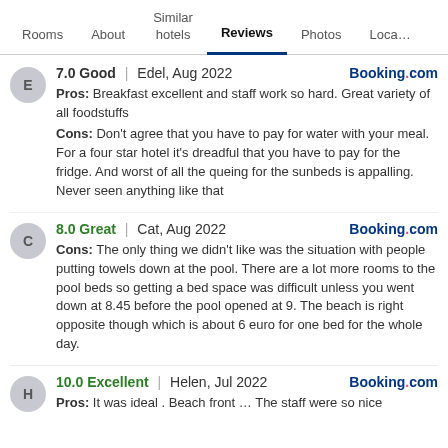Rooms | About | Similar hotels | Reviews | Photos | Loca…
7.0 Good | Edel, Aug 2022  Booking.com
Pros: Breakfast excellent and staff work so hard. Great variety of all foodstuffs
Cons: Don't agree that you have to pay for water with your meal. For a four star hotel it's dreadful that you have to pay for the fridge. And worst of all the queing for the sunbeds is appalling. Never seen anything like that
8.0 Great | Cat, Aug 2022  Booking.com
Cons: The only thing we didn't like was the situation with people putting towels down at the pool. There are a lot more rooms to the pool beds so getting a bed space was difficult unless you went down at 8.45 before the pool opened at 9. The beach is right opposite though which is about 6 euro for one bed for the whole day.
10.0 Excellent | Helen, Jul 2022  Booking.com
Pros: It was ideal . Beach front … The staff were so nice